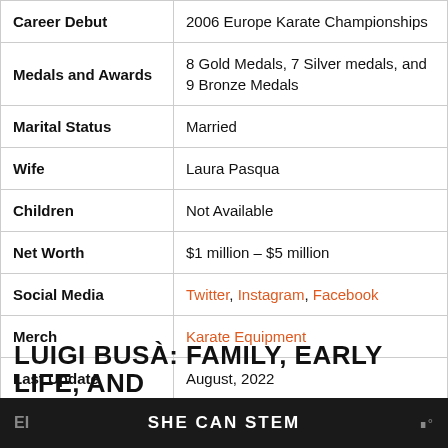| Field | Value |
| --- | --- |
| Career Debut | 2006 Europe Karate Championships |
| Medals and Awards | 8 Gold Medals, 7 Silver medals, and 9 Bronze Medals |
| Marital Status | Married |
| Wife | Laura Pasqua |
| Children | Not Available |
| Net Worth | $1 million – $5 million |
| Social Media | Twitter, Instagram, Facebook |
| Merch | Karate Equipment |
| Last Update | August, 2022 |
LUIGI BUSÀ: FAMILY, EARLY LIFE, AND
SHE CAN STEM